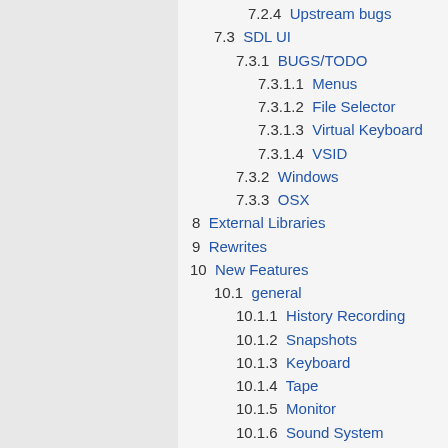7.2.4  Upstream bugs
7.3  SDL UI
7.3.1  BUGS/TODO
7.3.1.1  Menus
7.3.1.2  File Selector
7.3.1.3  Virtual Keyboard
7.3.1.4  VSID
7.3.2  Windows
7.3.3  OSX
8  External Libraries
9  Rewrites
10  New Features
10.1  general
10.1.1  History Recording
10.1.2  Snapshots
10.1.3  Keyboard
10.1.4  Tape
10.1.5  Monitor
10.1.6  Sound System
10.1.7  Video System